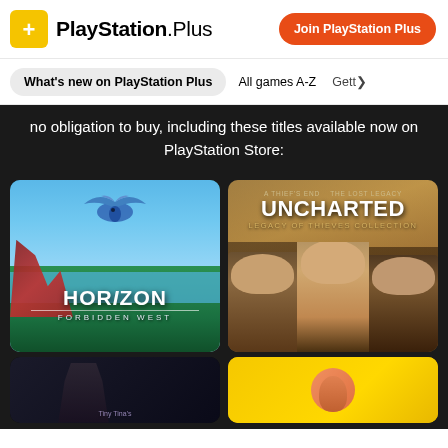PlayStation Plus | Join PlayStation Plus
What's new on PlayStation Plus | All games A-Z | Gett>
no obligation to buy, including these titles available now on PlayStation Store:
[Figure (screenshot): Horizon Forbidden West game cover art showing the title logo with a bird creature and a character on a tropical beach scene]
[Figure (screenshot): Uncharted Legacy of Thieves Collection game cover art showing three characters' faces against a sandy background]
[Figure (screenshot): Partially visible dark game cover at bottom left, appears to show 'Tiny Tina' text]
[Figure (screenshot): Partially visible yellow game cover at bottom right]